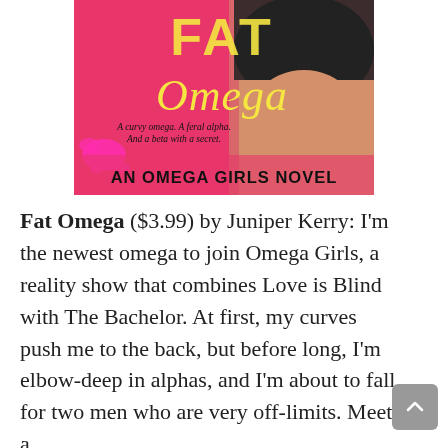[Figure (illustration): Book cover for 'Fat Omega' by Juniper Kerry — An Omega Girls Novel. Pink background with yellow neon script text 'Fat Omega', tagline 'A curvy omega. A feral alpha. And a beta with a secret.' in italic, bold black text 'AN OMEGA GIRLS NOVEL', and a woman in a black swimsuit.]
Fat Omega ($3.99) by Juniper Kerry: I'm the newest omega to join Omega Girls, a reality show that combines Love is Blind with The Bachelor. At first, my curves push me to the back, but before long, I'm elbow-deep in alphas, and I'm about to fall for two men who are very off-limits. Meet a